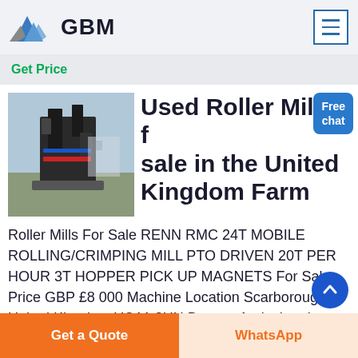GBM
Get Price
Used Roller Mills for sale in the United Kingdom Farm
[Figure (photo): Photograph of a large industrial roller mill machine on a gravel/concrete surface outdoors]
Roller Mills For Sale RENN RMC 24T MOBILE ROLLING/CRIMPING MILL PTO DRIVEN 20T PER HOUR 3T HOPPER PICK UP MAGNETS For Sale Price GBP £8 000 Machine Location Scarborough United Kingdom YO11 3UH Browns Agricultural Machinery Scarborou